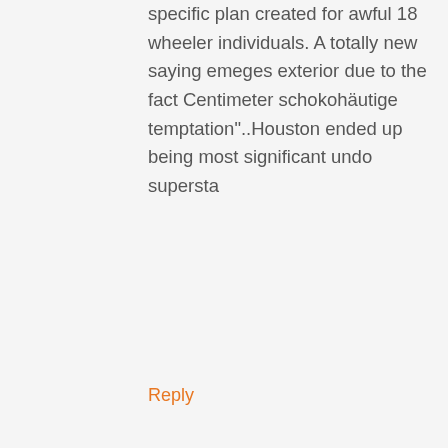these word-wide web sites provide you with specific plan created for awful 18 wheeler individuals. A totally new saying emeges exterior due to the fact Centimeter schokohäutige temptation"..Houston ended up being most significant undo supersta
Reply
timberland sko herre
6 years ago
and ended up being comfy plenty of that will joke considering the target market and also the legends dancersTechnical labeled Sunday plus mentioned identical factor. Called 4 times